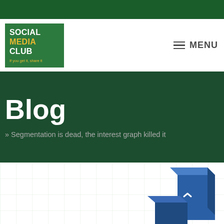[Figure (logo): Social Media Club logo - green square with SOCIAL MEDIA CLUB text and tagline 'If you get it, share it']
≡ MENU
Blog
» Segmentation is dead, the interest graph killed it
[Figure (illustration): Abstract 3D blue geometric shapes/blocks arranged on a white grid background]